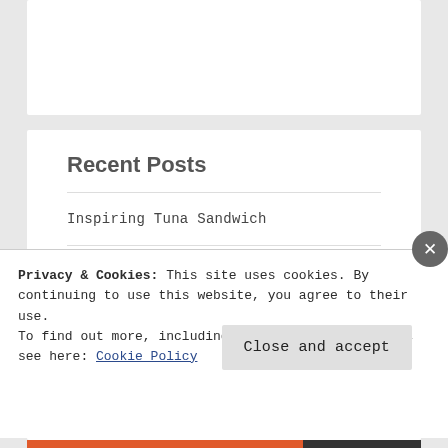Recent Posts
Inspiring Tuna Sandwich
Dear Diary
Travel Light
Privacy & Cookies: This site uses cookies. By continuing to use this website, you agree to their use.
To find out more, including how to control cookies, see here: Cookie Policy
Close and accept